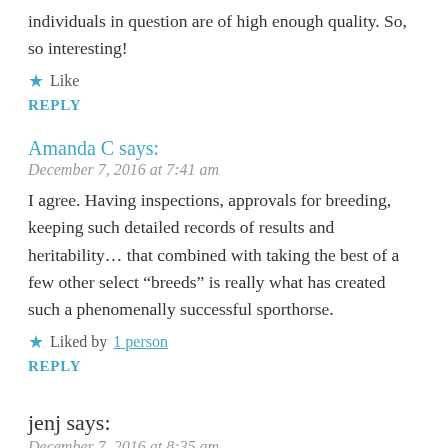individuals in question are of high enough quality. So, so interesting!
★ Like
REPLY
Amanda C says:
December 7, 2016 at 7:41 am
I agree. Having inspections, approvals for breeding, keeping such detailed records of results and heritability… that combined with taking the best of a few other select “breeds” is really what has created such a phenomenally successful sporthorse.
★ Liked by 1 person
REPLY
jenj says:
December 7, 2016 at 8:35 am
I think my favorite part of this post was the “chestnut stallion with